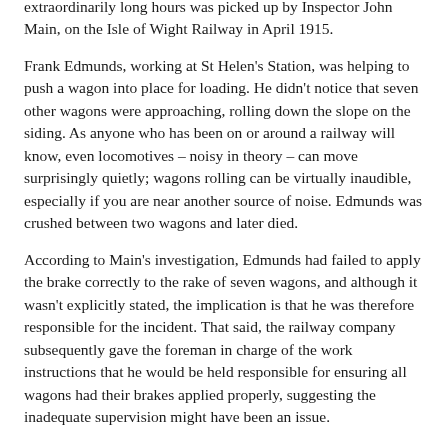extraordinarily long hours was picked up by Inspector John Main, on the Isle of Wight Railway in April 1915.
Frank Edmunds, working at St Helen's Station, was helping to push a wagon into place for loading. He didn't notice that seven other wagons were approaching, rolling down the slope on the siding. As anyone who has been on or around a railway will know, even locomotives – noisy in theory – can move surprisingly quietly; wagons rolling can be virtually inaudible, especially if you are near another source of noise. Edmunds was crushed between two wagons and later died.
According to Main's investigation, Edmunds had failed to apply the brake correctly to the rake of seven wagons, and although it wasn't explicitly stated, the implication is that he was therefore responsible for the incident. That said, the railway company subsequently gave the foreman in charge of the work instructions that he would be held responsible for ensuring all wagons had their brakes applied properly, suggesting the inadequate supervision might have been an issue.